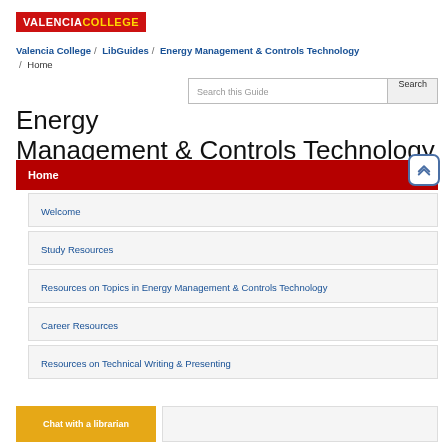[Figure (logo): Valencia College red logo with gold 'COLLEGE' text]
Valencia College / LibGuides / Energy Management & Controls Technology / Home
Energy Management & Controls Technology
Welcome
Study Resources
Resources on Topics in Energy Management & Controls Technology
Career Resources
Resources on Technical Writing & Presenting
Chat with a librarian